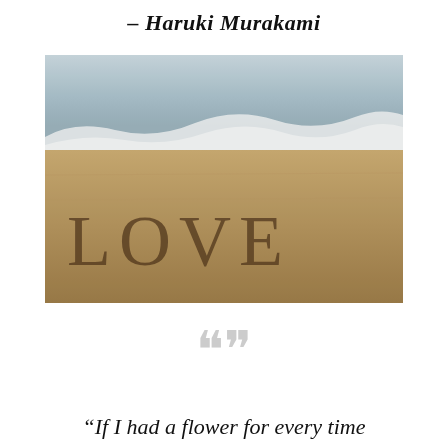– Haruki Murakami
[Figure (photo): Photo of the word LOVE written in the sand on a beach, with ocean waves in the background]
“If I had a flower for every time